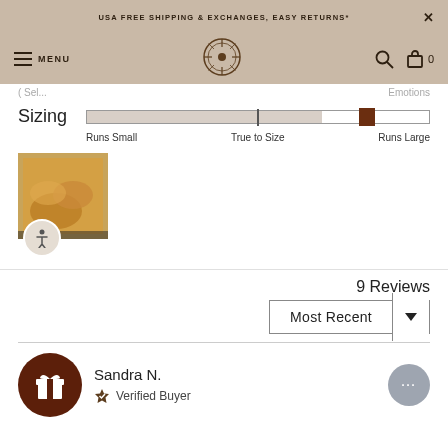USA FREE SHIPPING & EXCHANGES, EASY RETURNS*
[Figure (screenshot): Website navigation bar with menu icon, mandala logo, search and cart icons]
Sizing
[Figure (infographic): Sizing slider showing position closer to 'Runs Large' with labels: Runs Small, True to Size, Runs Large]
[Figure (photo): Photo of person wearing mustard/yellow suede shoes or slippers, viewed from above]
9 Reviews
Most Recent
Sandra N.
Verified Buyer